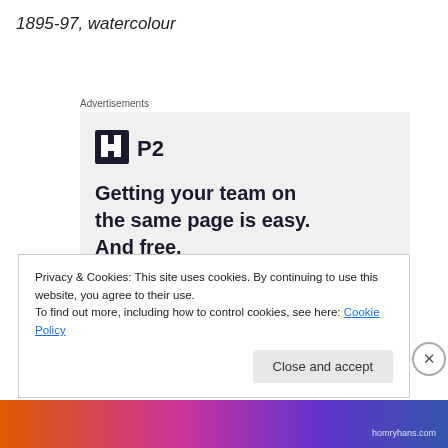1895-97, watercolour
Advertisements
[Figure (screenshot): Advertisement for P2 service with logo, headline 'Getting your team on the same page is easy. And free.' and user avatars]
Privacy & Cookies: This site uses cookies. By continuing to use this website, you agree to their use.
To find out more, including how to control cookies, see here: Cookie Policy
Close and accept